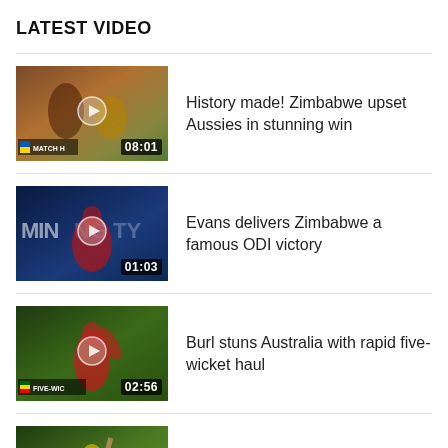LATEST VIDEO
[Figure (screenshot): Video thumbnail for 'History made! Zimbabwe upset Aussies in stunning win', duration 08:01, cricket match highlight]
History made! Zimbabwe upset Aussies in stunning win
[Figure (screenshot): Video thumbnail for 'Evans delivers Zimbabwe a famous ODI victory', duration 01:03, cricket action shot]
Evans delivers Zimbabwe a famous ODI victory
[Figure (screenshot): Video thumbnail for 'Burl stuns Australia with rapid five-wicket haul', duration 02:56, cricket match highlight]
Burl stuns Australia with rapid five-wicket haul
[Figure (screenshot): Video thumbnail for 'Warner in a class of his own with attacking 94', duration 03:54, cricket batting highlight]
Warner in a class of his own with attacking 94